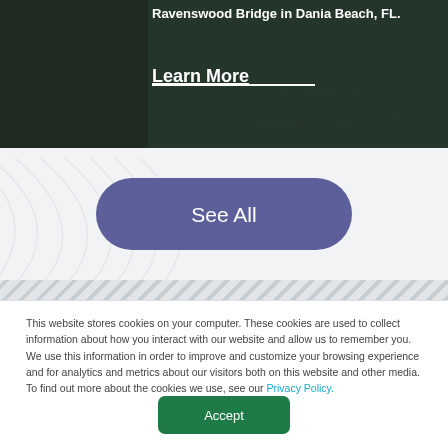[Figure (photo): Photograph of Ravenswood Bridge in Dania Beach, FL with dark green/water background]
Ravenswood Bridge in Dania Beach, FL.
Learn More
[Figure (other): Section with concentric arc decorative background and See All button]
See All
This website stores cookies on your computer. These cookies are used to collect information about how you interact with our website and allow us to remember you. We use this information in order to improve and customize your browsing experience and for analytics and metrics about our visitors both on this website and other media. To find out more about the cookies we use, see our Privacy Policy.
Accept